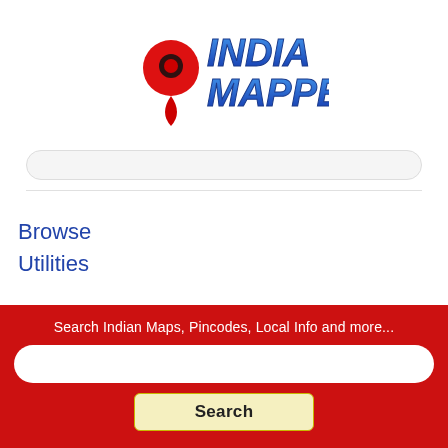[Figure (logo): India Mapped logo with red location pin marker and blue bold italic text 'INDIA MAPPED']
Browse
Utilities
Search Indian Maps, Pincodes, Local Info and more...